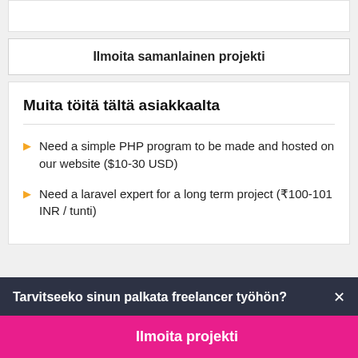Ilmoita samanlainen projekti
Muita töitä tältä asiakkaalta
Need a simple PHP program to be made and hosted on our website ($10-30 USD)
Need a laravel expert for a long term project (₹100-101 INR / tunti)
Tarvitseeko sinun palkata freelancer työhön?
Ilmoita projekti